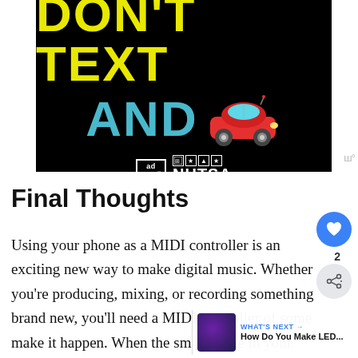[Figure (illustration): Ad Council / NHTSA 'Don't Text and Drive' public service advertisement. Black background with yellow bold text 'DON'T TEXT', cyan bold text 'AND', and a red cartoon car emoji. Ad Council and NHTSA logos at bottom.]
Final Thoughts
Using your phone as a MIDI controller is an exciting new way to make digital music. Whether you're producing, mixing, or recording something brand new, you'll need a MIDI controller of some make it happen. When the smartphone in your pocket is capable of so much, using it as your MIDI